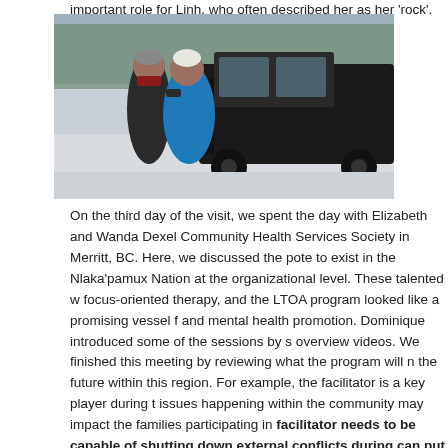important role for Linh, who often described her as her 'rock'.
[Figure (photo): Two women standing in front of a black Jeep in a snowy outdoor setting with pine trees in the background. One wears a dark jacket and helmet, the other a bright blue jacket and white winter hat.]
On the third day of the visit, we spent the day with Elizabeth and Wanda Dexel at the Nlaka'pamux Nation Community Health Services Society in Merritt, BC. Here, we discussed the potential for the LTOA program to exist in the Nlaka'pamux Nation at the organizational level. These talented women were interested in focus-oriented therapy, and the LTOA program looked like a promising vessel for delivering wellness support and mental health promotion. Dominique introduced some of the sessions by showing the program's two overview videos. We finished this meeting by reviewing what the program will need to look like in the future within this region. For example, the facilitator is a key player during the program and external issues happening within the community may impact the families participating in the program. The facilitator needs to be capable of shutting down external conflicts during sessions, as these conflicts can put the facilitator in a difficult position. The space in which the program happens also impacts how the program unfolds. This notion has been further developed within the literature. For example, we also discussed the community's experience, expectations, and